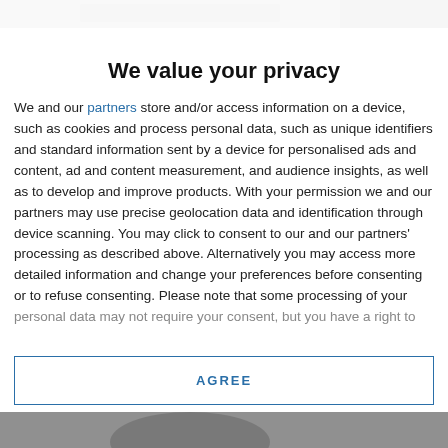[Figure (screenshot): Blurred website header image strip at top of page]
We value your privacy
We and our partners store and/or access information on a device, such as cookies and process personal data, such as unique identifiers and standard information sent by a device for personalised ads and content, ad and content measurement, and audience insights, as well as to develop and improve products. With your permission we and our partners may use precise geolocation data and identification through device scanning. You may click to consent to our and our partners' processing as described above. Alternatively you may access more detailed information and change your preferences before consenting or to refuse consenting. Please note that some processing of your personal data may not require your consent, but you have a right to
AGREE
MORE OPTIONS
[Figure (photo): Blurred photo strip at bottom of page]